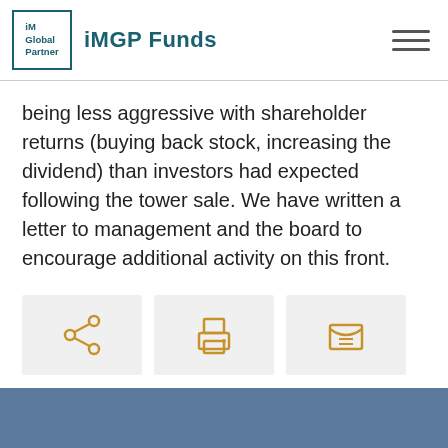iMGP Funds
being less aggressive with shareholder returns (buying back stock, increasing the dividend) than investors had expected following the tower sale. We have written a letter to management and the board to encourage additional activity on this front.
[Figure (infographic): Three icon buttons in a row: share icon, print icon, and email/envelope icon, each on a light gray square background, icons in golden/amber color.]